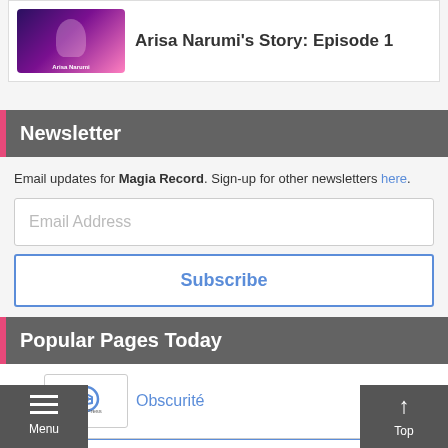[Figure (screenshot): Anime game card with purple/pink gradient art and title 'Arisa Narumi's Story: Episode 1']
Arisa Narumi's Story: Episode 1
Newsletter
Email updates for Magia Record. Sign-up for other newsletters here.
Email Address
Subscribe
Popular Pages Today
[Figure (logo): GamePress logo - circular G icon with 'GamePress' text]
Obscurité
See All